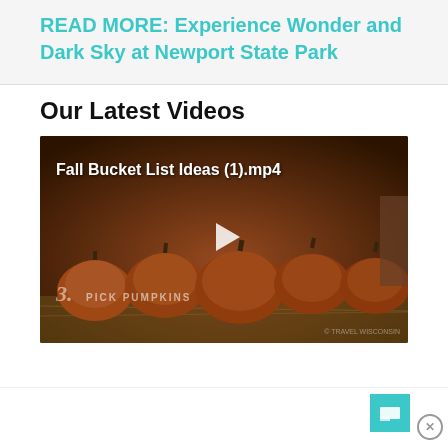READ MORE: Experience Wonder and Dark Sky at Newport State Park
Our Latest Videos
[Figure (screenshot): Video thumbnail showing rows of pumpkins on hay bales with a play button. Title reads 'Fall Bucket List Ideas (1).mp4'. Bottom left shows '3. PICK PUMPKINS' watermark text.]